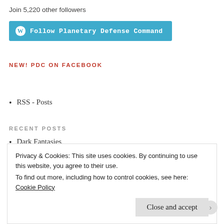Join 5,220 other followers
[Figure (other): Follow Planetary Defense Command button with WordPress logo]
NEW! PDC ON FACEBOOK
RSS - Posts
RECENT POSTS
Dark Fantasies
Things are happening
Privacy & Cookies: This site uses cookies. By continuing to use this website, you agree to their use. To find out more, including how to control cookies, see here: Cookie Policy
Close and accept